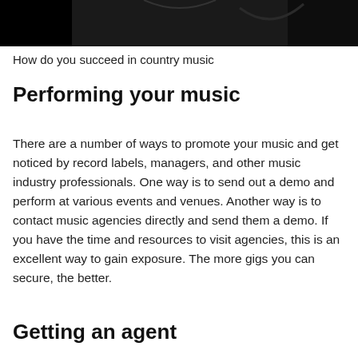[Figure (photo): Dark black and white photo of a person, likely a country music performer, cropped at the top of the page]
How do you succeed in country music
Performing your music
There are a number of ways to promote your music and get noticed by record labels, managers, and other music industry professionals. One way is to send out a demo and perform at various events and venues. Another way is to contact music agencies directly and send them a demo. If you have the time and resources to visit agencies, this is an excellent way to gain exposure. The more gigs you can secure, the better.
Getting an agent